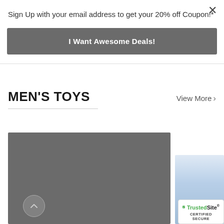Sign Up with your email address to get your 20% off Coupon!*
I Want Awesome Deals!
MEN'S TOYS
View More >
[Figure (photo): Large dark gray product image placeholder for a men's toy product]
[Figure (photo): Partial side view of a blue product (appears to be a bottle or similar item)]
[Figure (logo): TrustedSite Certified Secure badge with green checkmark]